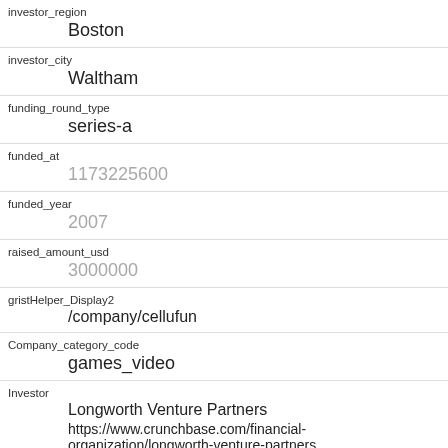| Field | Value |
| --- | --- |
| investor_region | Boston |
| investor_city | Waltham |
| funding_round_type | series-a |
| funded_at | 1173225600 |
| funded_year | 2007 |
| raised_amount_usd | 3000000 |
| gristHelper_Display2 | /company/cellufun |
| Company_category_code | games_video |
| Investor | Longworth Venture Partners
https://www.crunchbase.com/financial-organization/longworth-venture-partners |